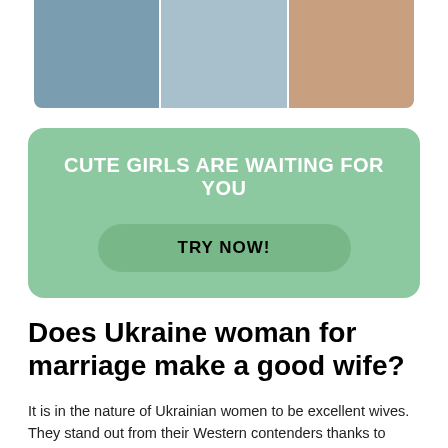[Figure (photo): Three cropped photos of women arranged in a horizontal strip at the top of the page]
CUTE GIRLS ARE WAITING FOR YOU
TRY NOW!
Does Ukraine woman for marriage make a good wife?
It is in the nature of Ukrainian women to be excellent wives. They stand out from their Western contenders thanks to numerous aspects. Compare which kind of wives are Ukrainian and American women to determine which mentality suits your relationship pattern.